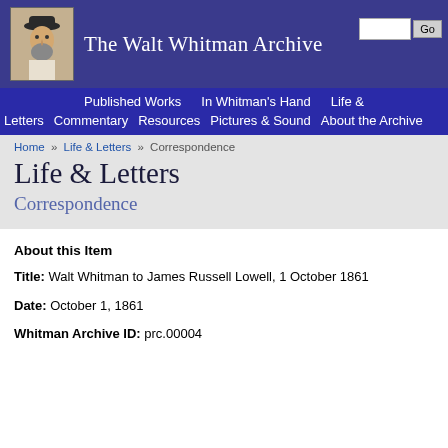The Walt Whitman Archive
Published Works | In Whitman's Hand | Life & Letters | Commentary | Resources | Pictures & Sound | About the Archive
Home » Life & Letters » Correspondence
Life & Letters
Correspondence
About this Item
Title: Walt Whitman to James Russell Lowell, 1 October 1861
Date: October 1, 1861
Whitman Archive ID: prc.00004